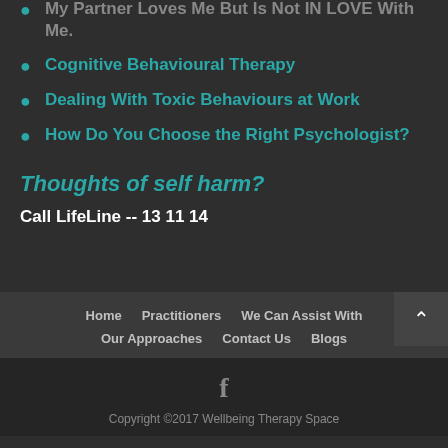My Partner Loves Me But Is Not IN LOVE With Me.
Cognitive Behavioural Therapy
Dealing With Toxic Behaviours at Work
How Do You Choose the Right Psychologist?
Thoughts of self harm?
Call LifeLine -- 13 11 14
Home   Practitioners   We Can Assist With   Our Approaches   Contact Us   Blogs
Copyright ©2017 Wellbeing Therapy Space